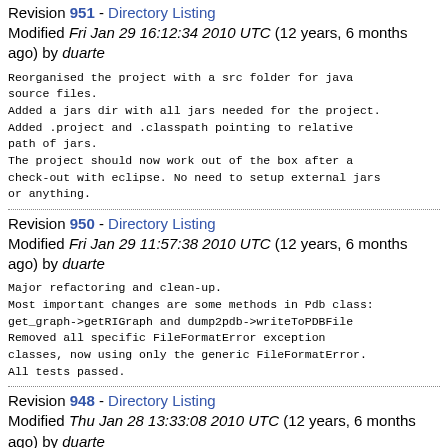Revision 951 - Directory Listing
Modified Fri Jan 29 16:12:34 2010 UTC (12 years, 6 months ago) by duarte
Reorganised the project with a src folder for java source files.
Added a jars dir with all jars needed for the project.
Added .project and .classpath pointing to relative path of jars.
The project should now work out of the box after a check-out with eclipse. No need to setup external jars or anything.
Revision 950 - Directory Listing
Modified Fri Jan 29 11:57:38 2010 UTC (12 years, 6 months ago) by duarte
Major refactoring and clean-up.
Most important changes are some methods in Pdb class: get_graph->getRIGraph and dump2pdb->writeToPDBFile
Removed all specific FileFormatError exception classes, now using only the generic FileFormatError.
All tests passed.
Revision 948 - Directory Listing
Modified Thu Jan 28 13:33:08 2010 UTC (12 years, 6 months ago) by duarte
New test for rmsd on intervals